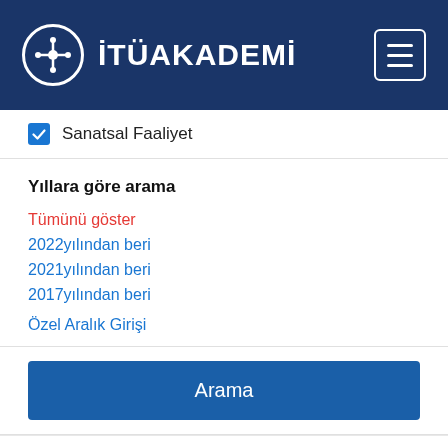İTÜAKADEMİ
Sanatsal Faaliyet
Yıllara göre arama
Tümünü göster
2022yılından beri
2021yılından beri
2017yılından beri
Özel Aralık Girişi
Arama
Ecohydrologic role of solar radiation on landscape evolution